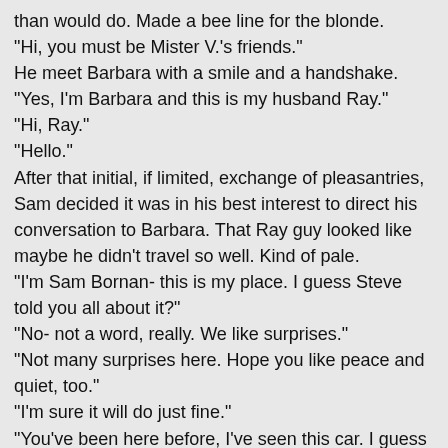than would do. Made a bee line for the blonde. "Hi, you must be Mister V.'s friends." He meet Barbara with a smile and a handshake. "Yes, I'm Barbara and this is my husband Ray." "Hi, Ray." "Hello." After that initial, if limited, exchange of pleasantries, Sam decided it was in his best interest to direct his conversation to Barbara. That Ray guy looked like maybe he didn't travel so well. Kind of pale. "I'm Sam Bornan- this is my place. I guess Steve told you all about it?" "No- not a word, really. We like surprises." "Not many surprises here. Hope you like peace and quiet, too." "I'm sure it will do just fine." "You've been here before, I've seen this car. I guess you know where you're headed and all. If you need anything just yell. I'll hear you." "Thank you, Sam." Barbara elected to keep the car windows down- to test that small town charm and all- and walked around to the other side of the car to help Ray up the stairs. Even she could see that those stairs